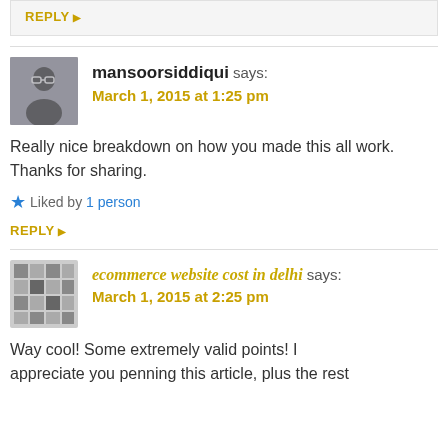REPLY ▶
mansoorsiddiqui says: March 1, 2015 at 1:25 pm
Really nice breakdown on how you made this all work. Thanks for sharing.
★ Liked by 1 person
REPLY ▶
ecommerce website cost in delhi says: March 1, 2015 at 2:25 pm
Way cool! Some extremely valid points! I appreciate you penning this article, plus the rest